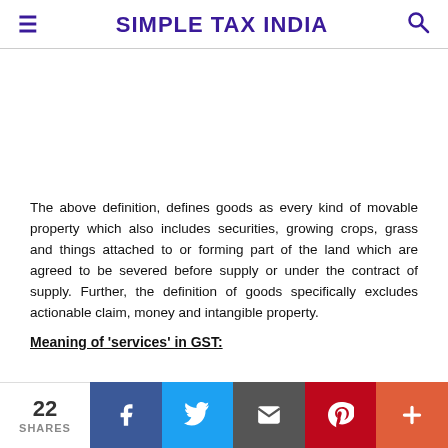SIMPLE TAX INDIA
The above definition, defines goods as every kind of movable property which also includes securities, growing crops, grass and things attached to or forming part of the land which are agreed to be severed before supply or under the contract of supply. Further, the definition of goods specifically excludes actionable claim, money and intangible property.
Meaning of 'services' in GST:
22 SHARES